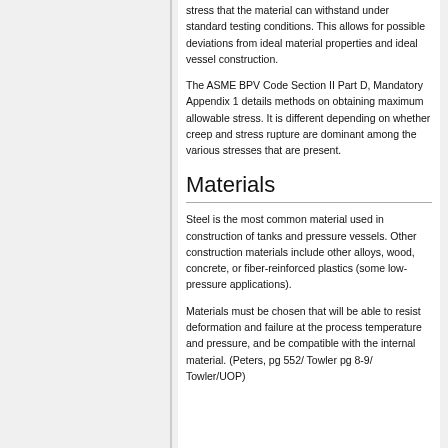stress that the material can withstand under standard testing conditions. This allows for possible deviations from ideal material properties and ideal vessel construction.
The ASME BPV Code Section II Part D, Mandatory Appendix 1 details methods on obtaining maximum allowable stress. It is different depending on whether creep and stress rupture are dominant among the various stresses that are present.
Materials
Steel is the most common material used in construction of tanks and pressure vessels. Other construction materials include other alloys, wood, concrete, or fiber-reinforced plastics (some low-pressure applications).
Materials must be chosen that will be able to resist deformation and failure at the process temperature and pressure, and be compatible with the internal material. (Peters, pg 552/ Towler pg 8-9/ Towler/UOP)